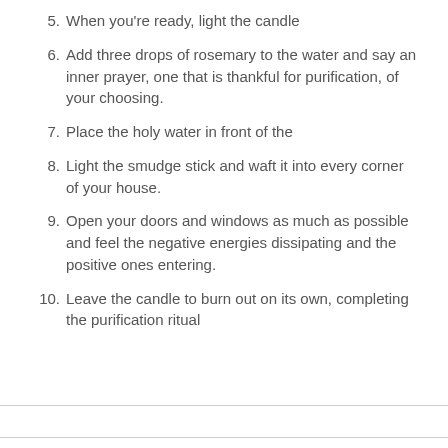5. When you're ready, light the candle
6. Add three drops of rosemary to the water and say an inner prayer, one that is thankful for purification, of your choosing.
7. Place the holy water in front of the
8. Light the smudge stick and waft it into every corner of your house.
9. Open your doors and windows as much as possible and feel the negative energies dissipating and the positive ones entering.
10. Leave the candle to burn out on its own, completing the purification ritual